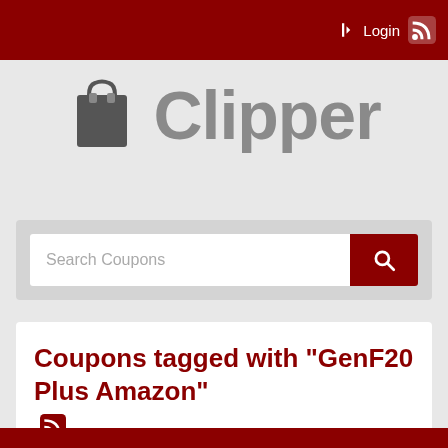Login
[Figure (logo): Clipper shopping bag logo with text 'Clipper']
Search Coupons
Coupons tagged with "GenF20 Plus Amazon"